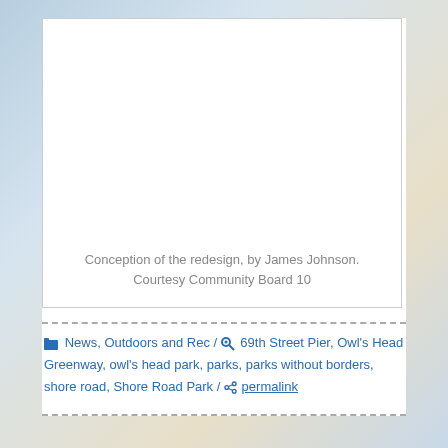[Figure (photo): A large white image box showing a conception/rendering of a redesign, by James Johnson, courtesy Community Board 10. The image area appears blank/white in this rendering.]
Conception of the redesign, by James Johnson. Courtesy Community Board 10
News, Outdoors and Rec / 69th Street Pier, Owl's Head Greenway, owl's head park, parks, parks without borders, shore road, Shore Road Park / permalink